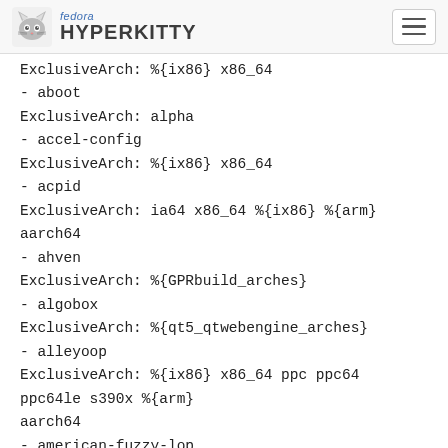fedora HYPERKITTY
ExclusiveArch: %{ix86} x86_64
- aboot
ExclusiveArch: alpha
- accel-config
ExclusiveArch: %{ix86} x86_64
- acpid
ExclusiveArch: ia64 x86_64 %{ix86} %{arm} aarch64
- ahven
ExclusiveArch: %{GPRbuild_arches}
- algobox
ExclusiveArch: %{qt5_qtwebengine_arches}
- alleyoop
ExclusiveArch: %{ix86} x86_64 ppc ppc64 ppc64le s390x %{arm} aarch64
- american-fuzzy-lop
ExclusiveArch: %{ix86} x86_64
- anet
ExclusiveArch: %{GPRbuild_arches}
- (partially obscured)
ExclusiveArch: %{qt5_qtwebengine_arches} noarch